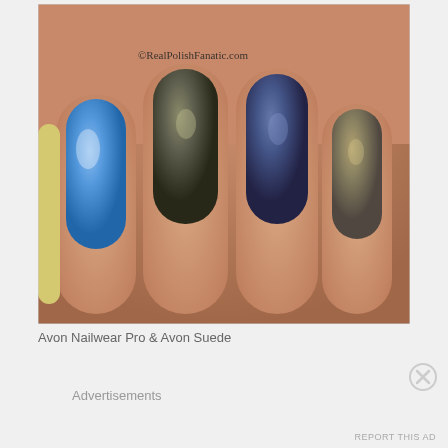[Figure (photo): Close-up photo of four painted fingernails showing different nail polish colors: blue shimmer, dark olive/grey shimmer, dark navy blue shimmer, and bronze/taupe shimmer. Watermark text reads ©RealPolishFanatic.com]
Avon Nailwear Pro & Avon Suede
Advertisements